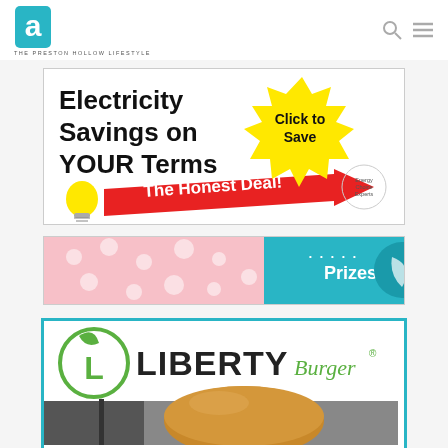[Figure (logo): Advocate magazine logo - teal square with white letter 'a' and text 'THE PRESTON HOLLOW LIFESTYLE' below]
[Figure (infographic): Electricity savings advertisement: 'Electricity Savings on YOUR Terms' with red arrow, yellow starburst 'Click to Save', tagline 'The Honest Deal!', lightbulb image, Energy Choice Experts logo]
[Figure (infographic): Advertisement with polka dot fabric/girl image on left, teal right section with 'Prizes!' text and teal leaf logo]
[Figure (infographic): Liberty Burger advertisement with green circle L logo, 'LIBERTY Burger' text in large letters, and burger photo below]